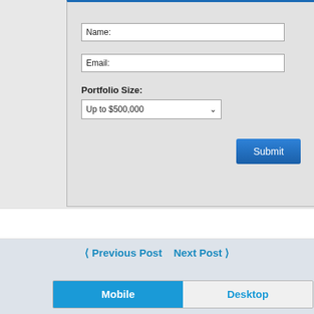[Figure (screenshot): Web form with Name, Email, Portfolio Size fields and a Submit button inside a gray card]
Name:
Email:
Portfolio Size:
Up to $500,000
Submit
< Previous Post   Next Post >
Mobile   Desktop